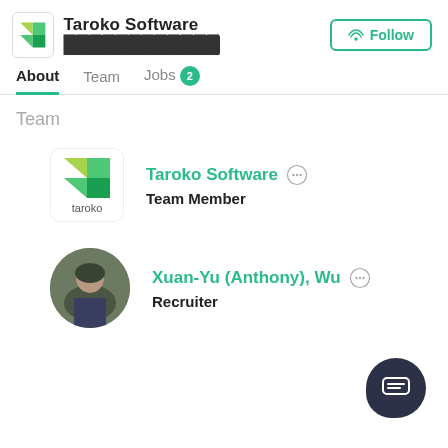Taroko Software ████████████
About   Team   Jobs 2
Team
[Figure (logo): Taroko Software logo - green leaf/shape icon with 'taroko' text below]
Taroko Software  Team Member
[Figure (photo): Circular profile photo of Xuan-Yu (Anthony) Wu, a man in a dark jacket outdoors]
Xuan-Yu (Anthony), Wu  Recruiter
[Figure (other): Floating action button with chat/message icon in dark navy blue]